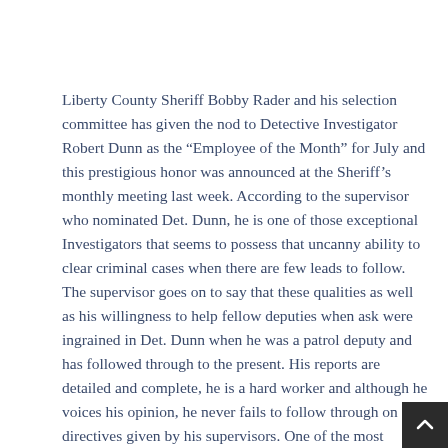Liberty County Sheriff Bobby Rader and his selection committee has given the nod to Detective Investigator Robert Dunn as the “Employee of the Month” for July and this prestigious honor was announced at the Sheriff’s monthly meeting last week. According to the supervisor who nominated Det. Dunn, he is one of those exceptional Investigators that seems to possess that uncanny ability to clear criminal cases when there are few leads to follow. The supervisor goes on to say that these qualities as well as his willingness to help fellow deputies when ask were ingrained in Det. Dunn when he was a patrol deputy and has followed through to the present. His reports are detailed and complete, he is a hard worker and although he voices his opinion, he never fails to follow through on directives given by his supervisors. One of the most glaring accomplishments of Dunn as mentioned by his supervisor, is the fact he is considered the “king” Cell-Bright technology and there are few investigators in our area t